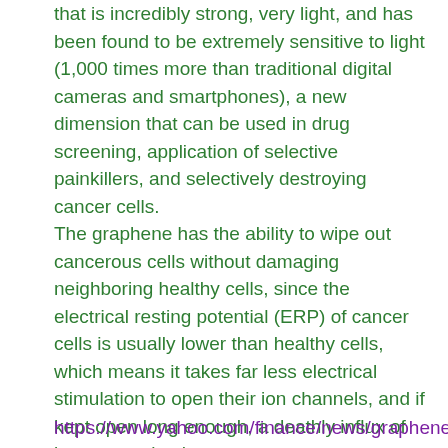that is incredibly strong, very light, and has been found to be extremely sensitive to light (1,000 times more than traditional digital cameras and smartphones), a new dimension that can be used in drug screening, application of selective painkillers, and selectively destroying cancer cells.
The graphene has the ability to wipe out cancerous cells without damaging neighboring healthy cells, since the electrical resting potential (ERP) of cancer cells is usually lower than healthy cells, which means it takes far less electrical stimulation to open their ion channels, and if kept open long enough, a deathly influx of ions can nuke them.
https://www.yahoo.com/finance/news/graphene-apos-